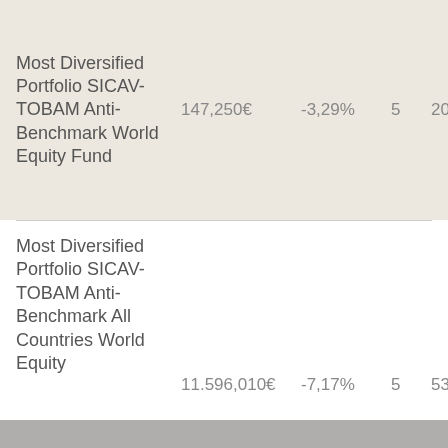| Fund Name | Value | Performance | Rating | AUM |
| --- | --- | --- | --- | --- |
| Most Diversified Portfolio SICAV-TOBAM Anti-Benchmark World Equity Fund | 147,250€ | -3,29% | 5 | 204M€ |
| Most Diversified Portfolio SICAV-TOBAM Anti-Benchmark All Countries World Equity | 11.596,010€ | -7,17% | 5 | 53M€ |